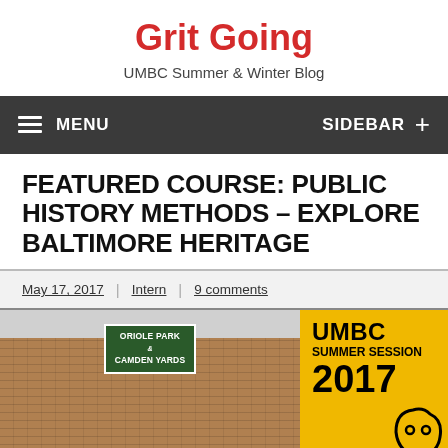Grit Going
UMBC Summer & Winter Blog
MENU   SIDEBAR +
FEATURED COURSE: PUBLIC HISTORY METHODS - EXPLORE BALTIMORE HERITAGE
May 17, 2017 | Intern | 9 comments
[Figure (photo): Split image: left side shows the Oriole Park at Camden Yards building exterior with green sign; right side shows a yellow UMBC Summer Session 2017 promotional panel with mascot outline]